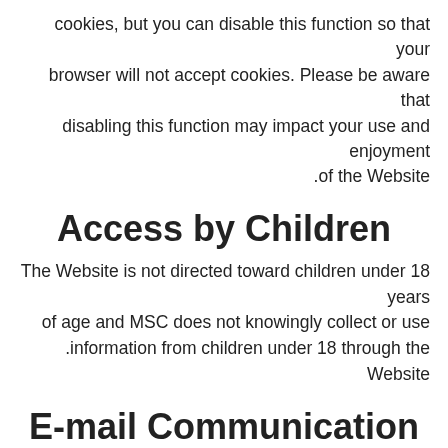cookies, but you can disable this function so that your browser will not accept cookies. Please be aware that disabling this function may impact your use and enjoyment of the Website.
Access by Children
The Website is not directed toward children under 18 years of age and MSC does not knowingly collect or use information from children under 18 through the Website.
E-mail Communication
MSC may use your personal information and other information collected through this website to send you promotional communications that we believe may be of interest to you. You have the opportunity to opt-out of receiving such promotional communications from us at any